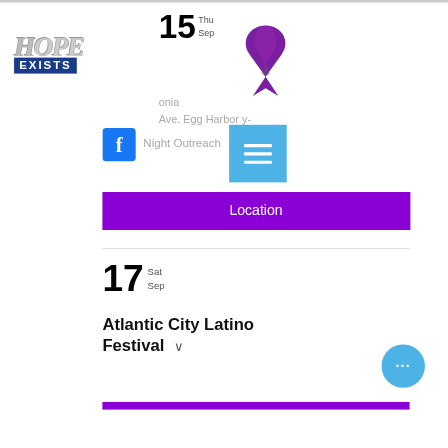[Figure (logo): Hope Exists logo with stylized italic text and blue banner reading EXISTS]
[Figure (illustration): Purple awareness ribbon]
15
Thu
Sep
onia Ave. Egg Harbor y- Night Outreach
[Figure (logo): Facebook logo icon (blue square with white f)]
[Figure (other): Blue hamburger menu button with three horizontal white lines]
Location
17
Sat
Sep
Atlantic City Latino Festival
[Figure (other): Blue circular more options button with three dots]